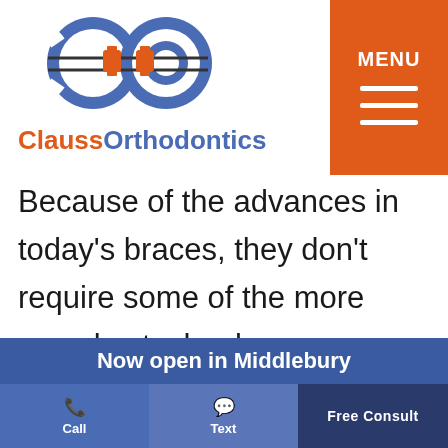[Figure (logo): Clauss Orthodontics logo: two interlocking circles forming 'CO' letters in blue with orange connectors/brackets, with text 'ClaussOrthodontics' below in orange and blue]
Because of the advances in today's braces, they don't require some of the more complex technology or expensive equipment that newer treatments do, making them a more affordable option. The overall strength, durability, and cost-effectiveness of traditional metal braces
Now open in Middlebury
Call   Text   Free Consult